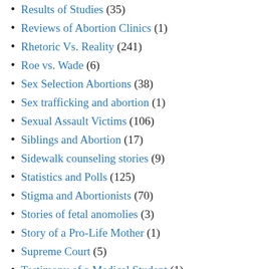Results of Studies (35)
Reviews of Abortion Clinics (1)
Rhetoric Vs. Reality (241)
Roe vs. Wade (6)
Sex Selection Abortions (38)
Sex trafficking and abortion (1)
Sexual Assault Victims (106)
Siblings and Abortion (17)
Sidewalk counseling stories (9)
Statistics and Polls (125)
Stigma and Abortionists (70)
Stories of fetal anomolies (3)
Story of a Pro-Life Mother (1)
Supreme Court (5)
Testimony of a Medical Student (1)
Testimony of Allison Baker (1)
Testimony of Jill Stanek (?)